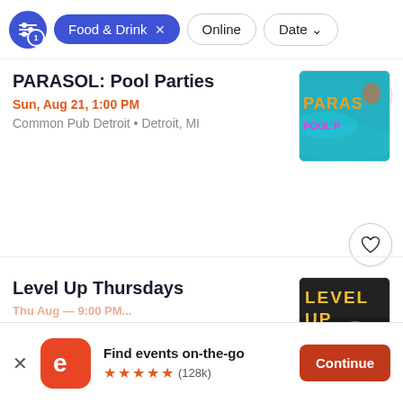[Figure (screenshot): Filter bar with active 'Food & Drink' chip, 'Online' chip, and 'Date' dropdown chip]
PARASOL: Pool Parties
Sun, Aug 21, 1:00 PM
Common Pub Detroit • Detroit, MI
[Figure (photo): Pool party event image with teal water background and 'PARASOL POOL PARTIES' text]
Level Up Thursdays
[Figure (photo): Level Up Thursdays event image with dark background and arrow icon]
Find events on-the-go
(128k)
Continue